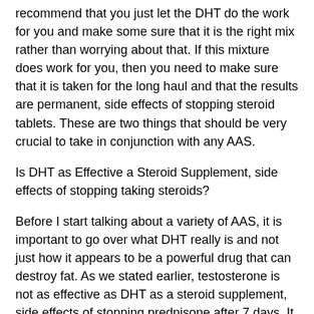recommend that you just let the DHT do the work for you and make some sure that it is the right mix rather than worrying about that. If this mixture does work for you, then you need to make sure that it is taken for the long haul and that the results are permanent, side effects of stopping steroid tablets. These are two things that should be very crucial to take in conjunction with any AAS.
Is DHT as Effective a Steroid Supplement, side effects of stopping taking steroids?
Before I start talking about a variety of AAS, it is important to go over what DHT really is and not just how it appears to be a powerful drug that can destroy fat. As we stated earlier, testosterone is not as effective as DHT as a steroid supplement, side effects of stopping prednisone after 7 days. It can, however, still be used in conjunction with testosterone and may actually be the better